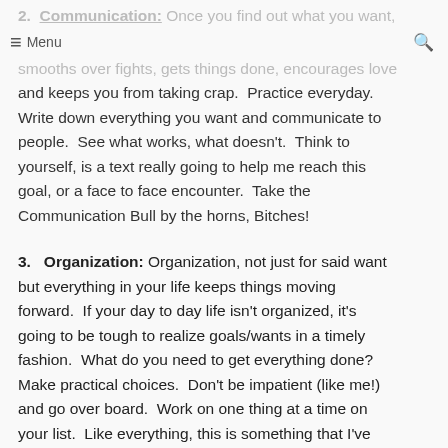≡ Menu  🔍
2. Communication: Once you find out what you want, ≡ Menu to learn how to communicate effectively. smooths over fights, gets things done, encourages love and keeps you from taking crap. Practice everyday. Write down everything you want and communicate to people. See what works, what doesn't. Think to yourself, is a text really going to help me reach this goal, or a face to face encounter. Take the Communication Bull by the horns, Bitches!
3. Organization: Organization, not just for said want but everything in your life keeps things moving forward. If your day to day life isn't organized, it's going to be tough to realize goals/wants in a timely fashion. What do you need to get everything done? Make practical choices. Don't be impatient (like me!) and go over board. Work on one thing at a time on your list. Like everything, this is something that I've learned over time. Just take the first step and all you